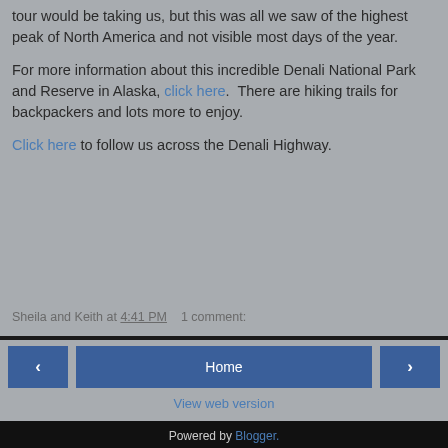tour would be taking us, but this was all we saw of the highest peak of North America and not visible most days of the year.
For more information about this incredible Denali National Park and Reserve in Alaska, click here. There are hiking trails for backpackers and lots more to enjoy.
Click here to follow us across the Denali Highway.
Sheila and Keith at 4:41 PM   1 comment:
‹   Home   ›   View web version   Powered by Blogger.